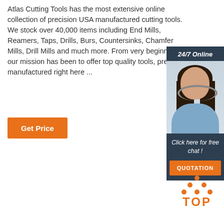Atlas Cutting Tools has the most extensive online collection of precision USA manufactured cutting tools. We stock over 40,000 items including End Mills, Reamers, Taps, Drills, Burs, Countersinks, Chamfer Mills, Drill Mills and much more. From the very beginning, our mission has been to offer top quality tools, precision manufactured right here ...
[Figure (illustration): Orange button labeled 'Get Price']
[Figure (infographic): Sidebar with '24/7 Online' header, photo of woman with headset, 'Click here for free chat!' text, and orange QUOTATION button]
[Figure (logo): Orange TOP logo with dots arranged in triangle shape above the word TOP]